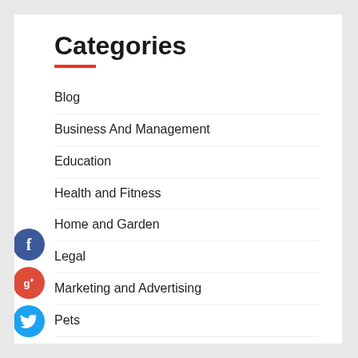Categories
Blog
Business And Management
Education
Health and Fitness
Home and Garden
Legal
Marketing and Advertising
Pets
Technology and Gadgets
Travel and Leisure